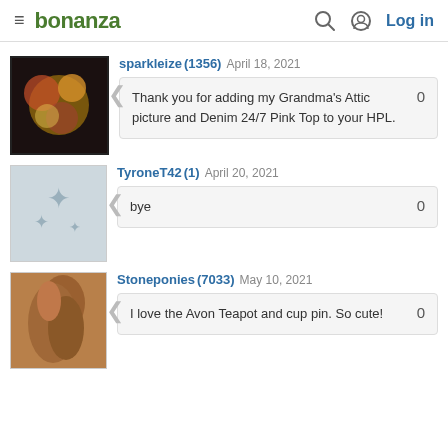bonanza  Log in
sparkleize (1356) April 18, 2021
Thank you for adding my Grandma's Attic picture and Denim 24/7 Pink Top to your HPL.
TyroneT42 (1) April 20, 2021
bye
Stoneponies (7033) May 10, 2021
I love the Avon Teapot and cup pin. So cute!